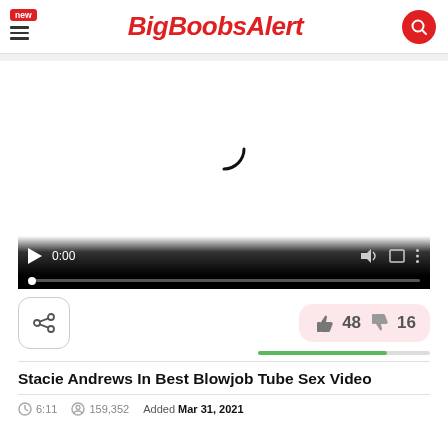BigBoobsAlert
[Figure (screenshot): Video player showing loading spinner, controls bar with play button, time 0:00, volume and fullscreen icons, and a progress bar]
48 likes, 16 dislikes with rating bar
Stacie Andrews In Best Blowjob Tube Sex Video
6:11  159,352  Added Mar 31, 2021